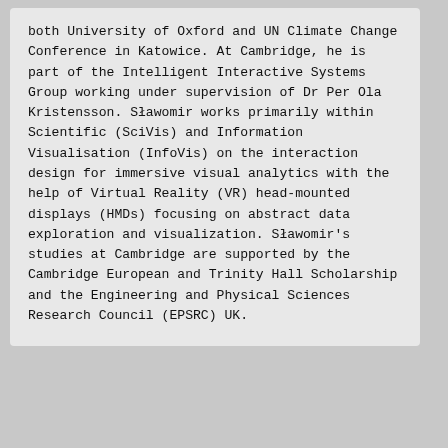both University of Oxford and UN Climate Change Conference in Katowice. At Cambridge, he is part of the Intelligent Interactive Systems Group working under supervision of Dr Per Ola Kristensson. Sławomir works primarily within Scientific (SciVis) and Information Visualisation (InfoVis) on the interaction design for immersive visual analytics with the help of Virtual Reality (VR) head-mounted displays (HMDs) focusing on abstract data exploration and visualization. Sławomir's studies at Cambridge are supported by the Cambridge European and Trinity Hall Scholarship and the Engineering and Physical Sciences Research Council (EPSRC) UK.